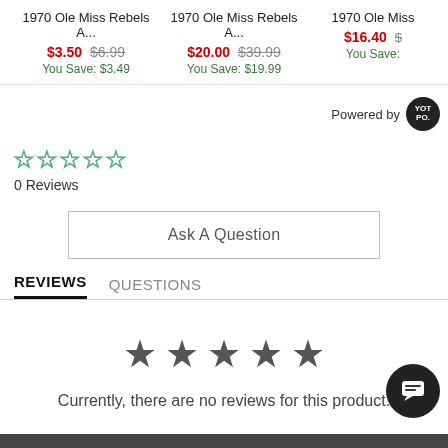1970 Ole Miss Rebels A... $3.50 $6.99 You Save: $3.49 | 1970 Ole Miss Rebels A... $20.00 $39.99 You Save: $19.99 | 1970 Ole Miss... $16.40 $ You Save:
Powered by YOTPO
[Figure (other): 5 empty/outline green stars rating display]
0 Reviews
Ask A Question
REVIEWS   QUESTIONS
[Figure (other): 5 filled dark gray stars rating display]
Currently, there are no reviews for this product.